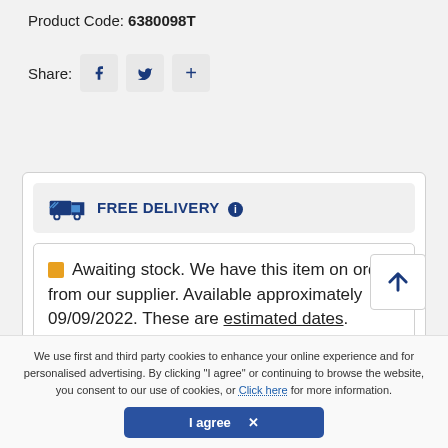Product Code: 6380098T
Share:  f  🐦  +
FREE DELIVERY ℹ
Awaiting stock. We have this item on order from our supplier. Available approximately 09/09/2022. These are estimated dates.
We use first and third party cookies to enhance your online experience and for personalised advertising. By clicking "I agree" or continuing to browse the website, you consent to our use of cookies, or Click here for more information.
I agree ✕